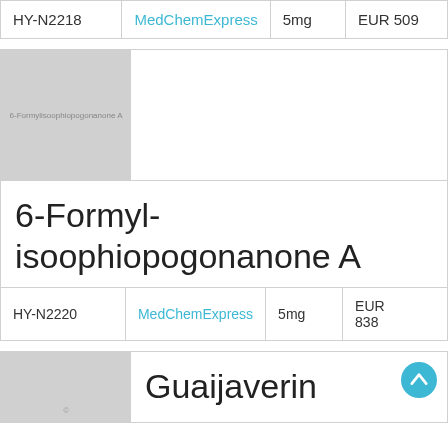| ID | Vendor | Qty | Price |
| --- | --- | --- | --- |
| HY-N2218 | MedChemExpress | 5mg | EUR 509 |
[Figure (illustration): Gray placeholder image for 6-Formylisoophiopogonanone A compound structure]
6-Formyl-isoophiopogonanone A
| ID | Vendor | Qty | Price |
| --- | --- | --- | --- |
| HY-N2220 | MedChemExpress | 5mg | EUR 838 |
[Figure (illustration): Gray placeholder image for Guaijaverin compound structure]
Guaijaverin